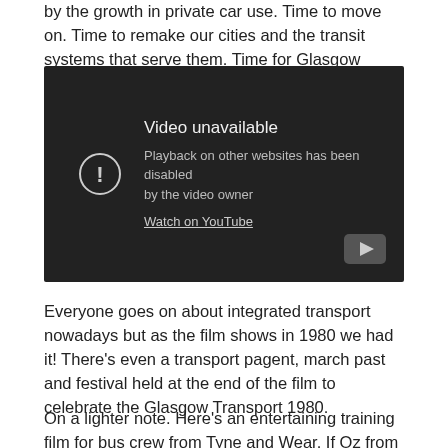by the growth in private car use. Time to move on. Time to remake our cities and the transit systems that serve them. Time for Glasgow Transport 1980…
[Figure (screenshot): Embedded YouTube video player showing 'Video unavailable - Playback on other websites has been disabled by the video owner. Watch on YouTube']
Everyone goes on about integrated transport nowadays but as the film shows in 1980 we had it! There's even a transport pagent, march past and festival held at the end of the film to celebrate the Glasgow Transport 1980.
On a lighter note. Here's an entertaining training film for bus crew from Tyne and Wear. If Oz from 'Auf Wiedersehen, Pet'